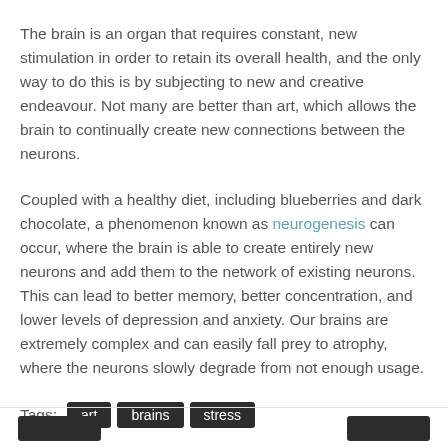The brain is an organ that requires constant, new stimulation in order to retain its overall health, and the only way to do this is by subjecting to new and creative endeavour. Not many are better than art, which allows the brain to continually create new connections between the neurons.
Coupled with a healthy diet, including blueberries and dark chocolate, a phenomenon known as neurogenesis can occur, where the brain is able to create entirely new neurons and add them to the network of existing neurons. This can lead to better memory, better concentration, and lower levels of depression and anxiety. Our brains are extremely complex and can easily fall prey to atrophy, where the neurons slowly degrade from not enough usage.
Tags: art brains stress